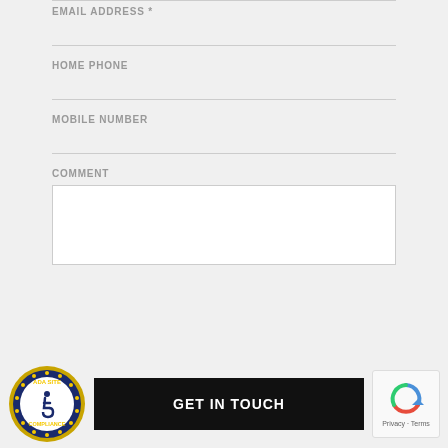EMAIL ADDRESS *
HOME PHONE
MOBILE NUMBER
COMMENT
[Figure (logo): ADA Site Compliance badge - circular blue and gold seal with wheelchair accessibility symbol]
GET IN TOUCH
[Figure (logo): reCAPTCHA widget with Privacy - Terms text]